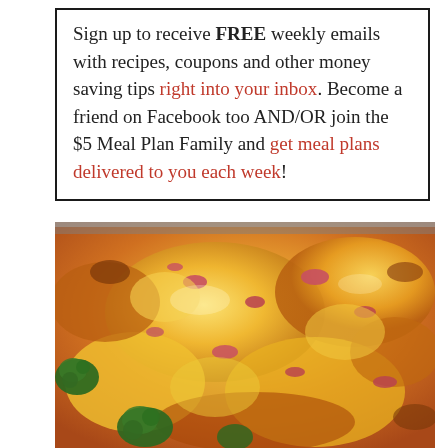Sign up to receive FREE weekly emails with recipes, coupons and other money saving tips right into your inbox. Become a friend on Facebook too AND/OR join the $5 Meal Plan Family and get meal plans delivered to you each week!
[Figure (photo): Close-up photo of a baked casserole dish with melted cheese, diced ham or bacon, and pieces of broccoli.]